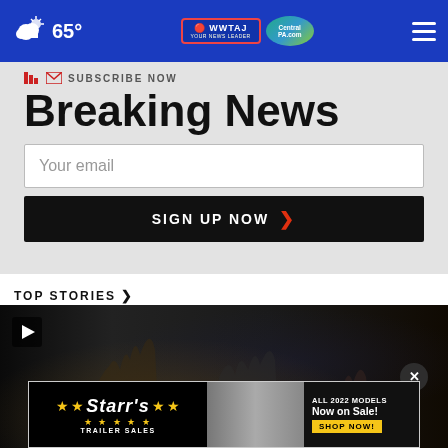65° | WWTAJ CentralPA.com
SUBSCRIBE NOW
Breaking News
Your email
SIGN UP NOW
TOP STORIES ›
[Figure (screenshot): Video thumbnail showing hands raised in a crowd, dark background, with play button in top left and close (x) button on right]
[Figure (photo): Advertisement banner for Starr's Trailer Sales with text 'ALL 2022 MODELS Now on Sale! SHOP NOW!']